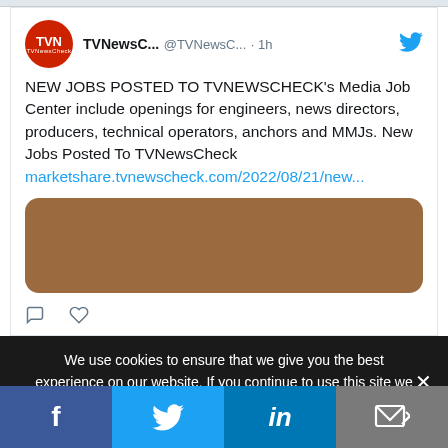[Figure (screenshot): Twitter/X post from TVNewsC... (@TVNewsC...) posted 1h ago. Text: NEW JOBS POSTED TO TVNEWSCHECK's Media Job Center include openings for engineers, news directors, producers, technical operators, anchors and MMJs. New Jobs Posted To TVNewsCheck marketshare.tvnewscheck.com/2022/08/21/new... with a brown/tan image thumbnail attached. Reply and like icons shown below.]
We use cookies to ensure that we give you the best experience on our website. If you continue to use this site we will assume that you are happy with it.
[Figure (infographic): Social media share bar with four buttons: Facebook (blue), Twitter (light blue), LinkedIn (dark blue), Email/share (gray)]